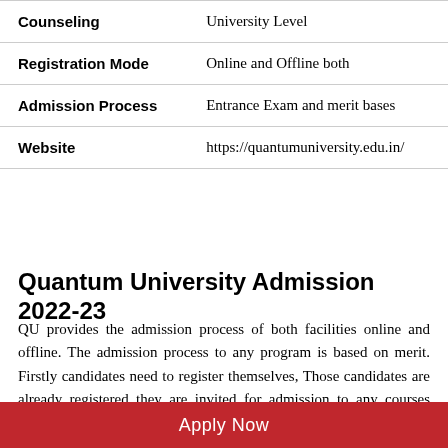|  |  |
| --- | --- |
| Counseling | University Level |
| Registration Mode | Online and Offline both |
| Admission Process | Entrance Exam and merit bases |
| Website | https://quantumuniversity.edu.in/ |
Quantum University Admission 2022-23
QU provides the admission process of both facilities online and offline. The admission process to any program is based on merit. Firstly candidates need to register themselves, Those candidates are already registered they are invited for admission to any courses based on merit. To
Apply Now